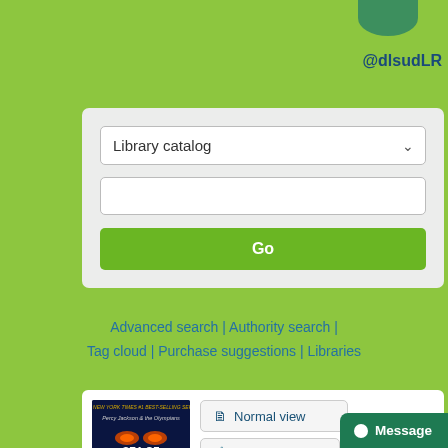@dlsudLR
Library catalog
Go
Advanced search | Authority search | Tag cloud | Purchase suggestions | Libraries
[Figure (illustration): Book cover of Percy Jackson & the Olympians: Sea of Monsters by Rick Riordan]
Normal view
MARC view
ISBD view
Percy Jackson & the Olympians : the of monsters / Rick
Message